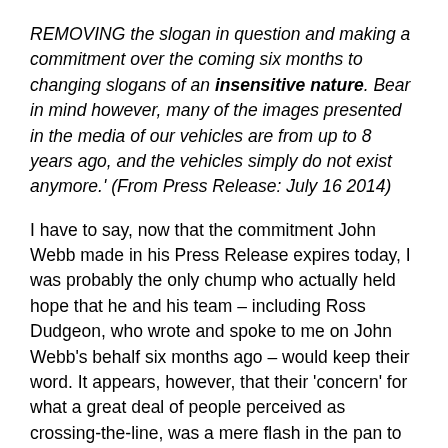REMOVING the slogan in question and making a commitment over the coming six months to changing slogans of an insensitive nature. Bear in mind however, many of the images presented in the media of our vehicles are from up to 8 years ago, and the vehicles simply do not exist anymore.' (From Press Release: July 16 2014)
I have to say, now that the commitment John Webb made in his Press Release expires today, I was probably the only chump who actually held hope that he and his team – including Ross Dudgeon, who wrote and spoke to me on John Webb's behalf six months ago – would keep their word. It appears, however, that their 'concern' for what a great deal of people perceived as crossing-the-line, was a mere flash in the pan to divert any more attention toward the business and its practices because, the simple fact is, their promises have not been kept...